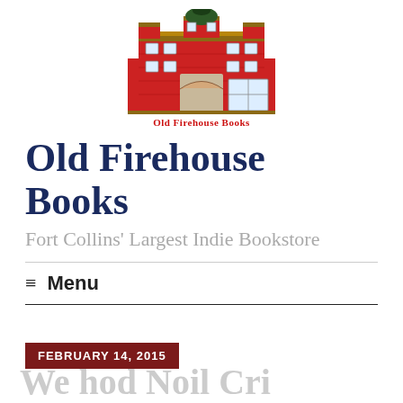[Figure (logo): Old Firehouse Books logo: illustrated red brick firehouse building with green cupola, text 'Old Firehouse Books' in red below the building]
Old Firehouse Books
Fort Collins' Largest Indie Bookstore
≡ Menu
FEBRUARY 14, 2015